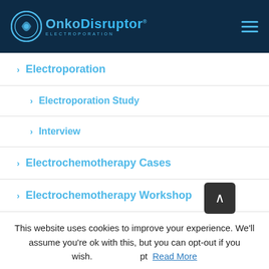OnkoDisruptor Electroporation
Electroporation
Electroporation Study
Interview
Electrochemotherapy Cases
Electrochemotherapy Workshop
Electrochemotherapy Medical Exhibition
This website uses cookies to improve your experience. We'll assume you're ok with this, but you can opt-out if you wish. Accept Read More